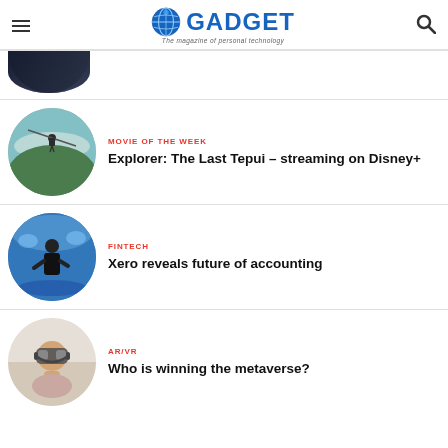GADGET – The magazine of personal technology
[Figure (photo): Partial circular image at top, dark textured surface]
MOVIE OF THE WEEK
Explorer: The Last Tepui – streaming on Disney+
[Figure (photo): Circular photo of person zip-lining or rappelling in misty green landscape]
FINTECH
Xero reveals future of accounting
[Figure (photo): Circular photo of a presenter on stage at a tech conference with blue background]
AR/VR
Who is winning the metaverse?
[Figure (photo): Circular photo of child wearing VR headset]